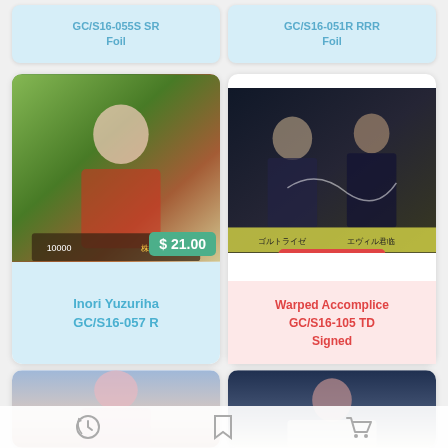GC/S16-055S SR Foil
GC/S16-051R RRR Foil
[Figure (photo): Anime trading card: Inori Yuzuriha character in red outfit, green background]
$ 21.00
Inori Yuzuriha GC/S16-057 R
[Figure (photo): Anime trading card: dark scene with male characters, signed card]
Not Available
Warped Accomplice GC/S16-105 TD Signed
[Figure (photo): Anime trading card: female character with pink hair in sky scene]
[Figure (photo): Anime trading card: female character in white outfit]